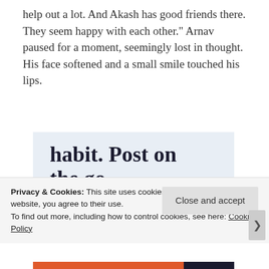help out a lot. And Akash has good friends there. They seem happy with each other." Arnav paused for a moment, seemingly lost in thought. His face softened and a small smile touched his lips.
[Figure (screenshot): WordPress mobile app advertisement with text 'habit. Post on the go.' and a 'GET THE APP' call to action with WordPress logo]
Privacy & Cookies: This site uses cookies. By continuing to use this website, you agree to their use.
To find out more, including how to control cookies, see here: Cookie Policy
Close and accept